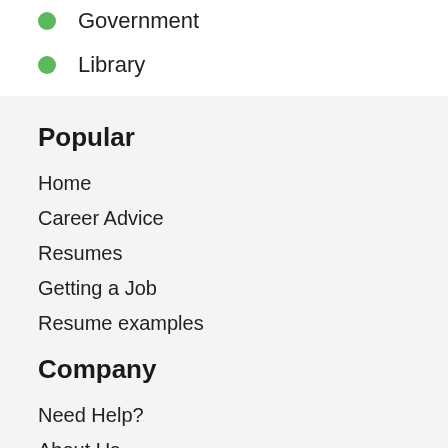Government
Library
Popular
Home
Career Advice
Resumes
Getting a Job
Resume examples
Company
Need Help?
About Us
Pricing